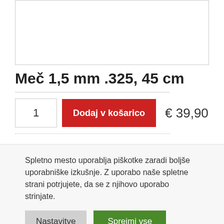[Figure (other): Product image placeholder box (empty white box with border)]
Meč 1,5 mm .325, 45 cm
€ 39,90
1  Dodaj v košarico
Spletno mesto uporablja piškotke zaradi boljše uporabniške izkušnje. Z uporabo naše spletne strani potrjujete, da se z njihovo uporabo strinjate.
Nastavitve  Sprejmi vse